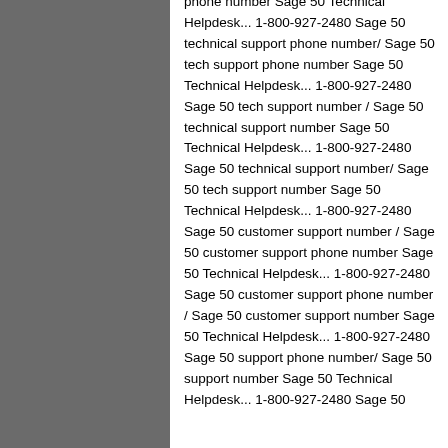[Figure (photo): Dark grayscale photo of an indoor scene, possibly a warehouse or parking structure, occupying the left portion of the page.]
phone number Sage 50 Technical Helpdesk... 1-800-927-2480 Sage 50 technical support phone number/ Sage 50 tech support phone number Sage 50 Technical Helpdesk... 1-800-927-2480 Sage 50 tech support number / Sage 50 technical support number Sage 50 Technical Helpdesk... 1-800-927-2480 Sage 50 technical support number/ Sage 50 tech support number Sage 50 Technical Helpdesk... 1-800-927-2480 Sage 50 customer support number / Sage 50 customer support phone number Sage 50 Technical Helpdesk... 1-800-927-2480 Sage 50 customer support phone number / Sage 50 customer support number Sage 50 Technical Helpdesk... 1-800-927-2480 Sage 50 support phone number/ Sage 50 support number Sage 50 Technical Helpdesk... 1-800-927-2480 Sage 50